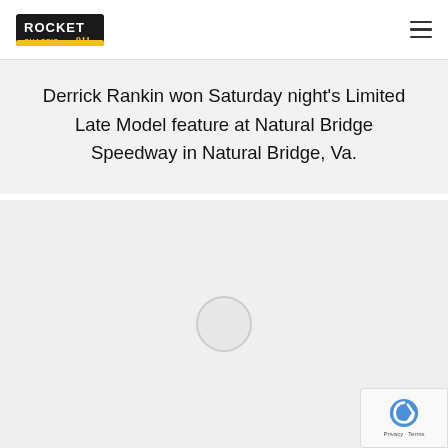Rocket Chassis logo and navigation hamburger menu
Derrick Rankin won Saturday night's Limited Late Model feature at Natural Bridge Speedway in Natural Bridge, Va.
[Figure (photo): Gray placeholder image area with a loading spinner circle in the center, likely a photo that has not loaded.]